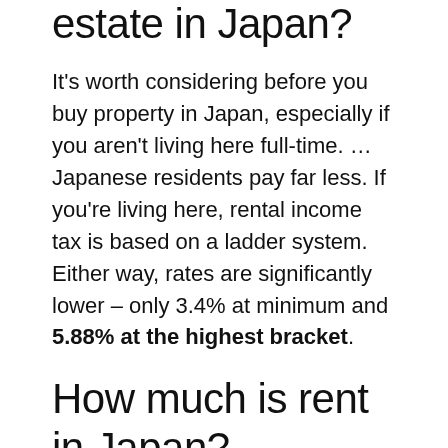estate in Japan?
It's worth considering before you buy property in Japan, especially if you aren't living here full-time. … Japanese residents pay far less. If you're living here, rental income tax is based on a ladder system. Either way, rates are significantly lower – only 3.4% at minimum and 5.88% at the highest bracket.
How much is rent in Japan?
The nationwide average monthly rent, not including utilities, for a one room apartment (20-40 square meters) is between 50,000 and 70,000 yen. Rent for similarly sized apartments in central Tokyo and popular